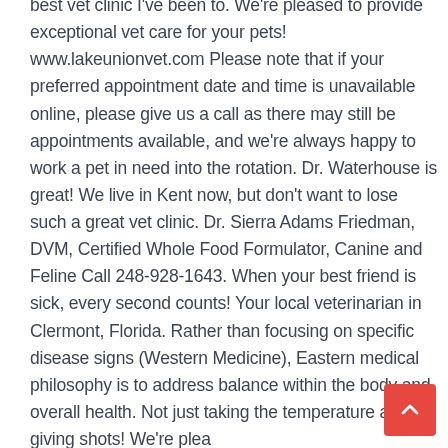best vet clinic I've been to. We're pleased to provide exceptional vet care for your pets! www.lakeunionvet.com Please note that if your preferred appointment date and time is unavailable online, please give us a call as there may still be appointments available, and we're always happy to work a pet in need into the rotation. Dr. Waterhouse is great! We live in Kent now, but don't want to lose such a great vet clinic. Dr. Sierra Adams Friedman, DVM, Certified Whole Food Formulator, Canine and Feline Call 248-928-1643. When your best friend is sick, every second counts! Your local veterinarian in Clermont, Florida. Rather than focusing on specific disease signs (Western Medicine), Eastern medical philosophy is to address balance within the body and overall health. Not just taking the temperature and giving shots! We're plea